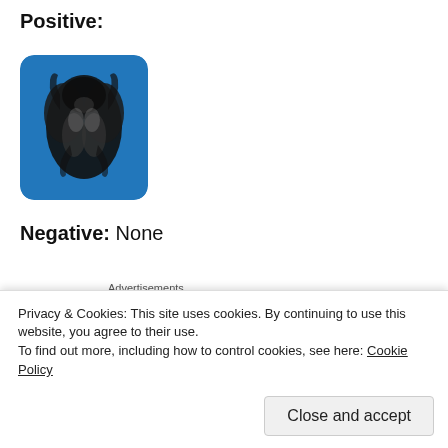Positive:
[Figure (photo): A Rorschach-style inkblot image on a blue background, showing a black and white symmetrical ink splash pattern, with rounded square shape and blue border.]
Negative: None
Advertisements
[Figure (illustration): WooCommerce advertisement banner with purple gradient background and white WooCommerce logo/wordmark on the left side.]
Privacy & Cookies: This site uses cookies. By continuing to use this website, you agree to their use.
To find out more, including how to control cookies, see here: Cookie Policy
Close and accept